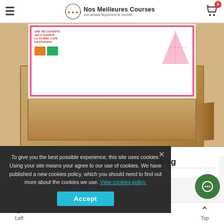Nos Meilleures Courses — navigation bar with hamburger menu and cart icon (0 items)
[Figure (photo): Open cardboard box with product label visible on top insert, showing pink dotted design with text 'UNE DÉCOUVERTE QUI A CHANGÉ LA FILIÈRE CAFÉ EN ÉTHIOPIE' and graphics]
ETHIOUABLE
VRAC RHD 3,25 kg
qualité 2/5
To give you the best possible experience, this site uses cookies. Using your site means your agree to our use of cookies. We have published a new cookies policy, which you should need to find out more about the cookies we use. View cookies policy.
Accept
Left    Top